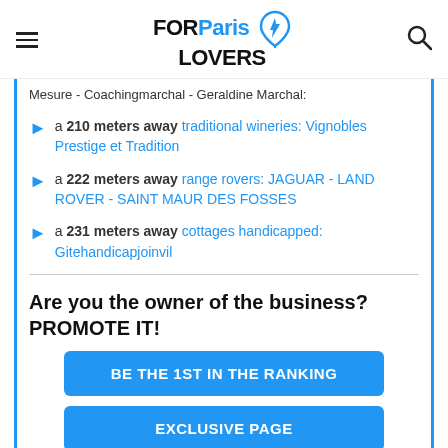FOR Paris LOVERS
Mesure - Coachingmarchal - Geraldine Marchal:
a 210 meters away traditional wineries: Vignobles Prestige et Tradition
a 222 meters away range rovers: JAGUAR - LAND ROVER - SAINT MAUR DES FOSSES
a 231 meters away cottages handicapped: Gitehandicapjoinvil
Are you the owner of the business? PROMOTE IT!
BE THE 1ST IN THE RANKING
EXCLUSIVE PAGE